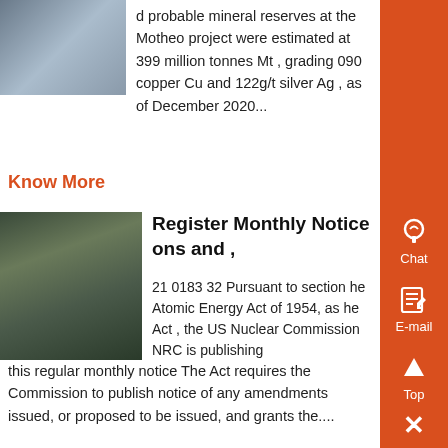[Figure (photo): Industrial building or mine site exterior photo, partially visible in upper left corner]
d probable mineral reserves at the Motheo project were estimated at 399 million tonnes Mt , grading 090 copper Cu and 122g/t silver Ag , as of December 2020...
Know More
[Figure (photo): Industrial facility interior with large machinery and equipment]
Register Monthly Notice ons and ,
21 0183 32 Pursuant to section he Atomic Energy Act of 1954, as he Act , the US Nuclear Commission NRC is publishing this regular monthly notice The Act requires the Commission to publish notice of any amendments issued, or proposed to be issued, and grants the....